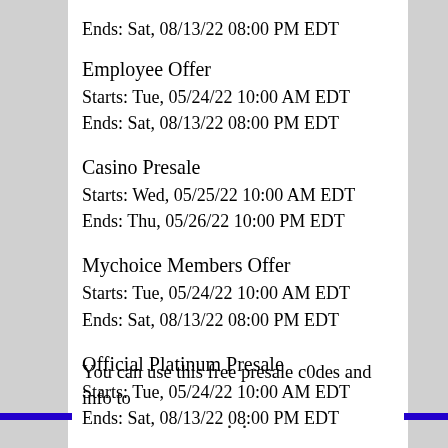Ends: Sat, 08/13/22 08:00 PM EDT
Employee Offer
Starts: Tue, 05/24/22 10:00 AM EDT
Ends: Sat, 08/13/22 08:00 PM EDT
Casino Presale
Starts: Wed, 05/25/22 10:00 AM EDT
Ends: Thu, 05/26/22 10:00 PM EDT
Mychoice Members Offer
Starts: Tue, 05/24/22 10:00 AM EDT
Ends: Sat, 08/13/22 08:00 PM EDT
Official Platinum Presale
Starts: Tue, 05/24/22 10:00 AM EDT
Ends: Sat, 08/13/22 08:00 PM EDT
You can use this free presale c0des and info to